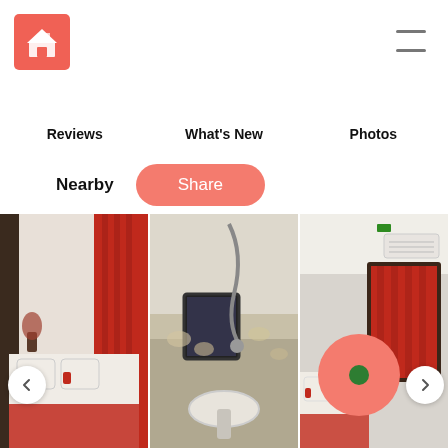[Figure (logo): Red square logo with house icon]
[Figure (illustration): Hamburger menu icon (three horizontal lines)]
Reviews    What's New    Photos
Nearby   Share
[Figure (photo): Hotel room with red curtains and bed with red pillows]
[Figure (photo): Bathroom with floral tiled walls and sink]
[Figure (photo): Hotel room with red curtains, AC unit, and bed]